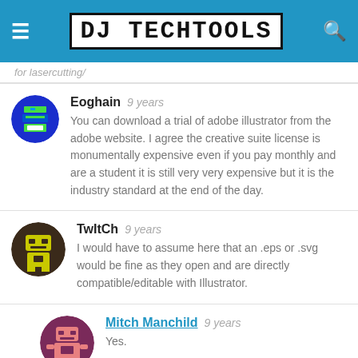DJ TechTools
for lasercutting/
Eoghain   9 years
You can download a trial of adobe illustrator from the adobe website. I agree the creative suite license is monumentally expensive even if you pay monthly and are a student it is still very very expensive but it is the industry standard at the end of the day.
TwItCh   9 years
I would have to assume here that an .eps or .svg would be fine as they open and are directly compatible/editable with Illustrator.
Mitch Manchild   9 years
Yes.